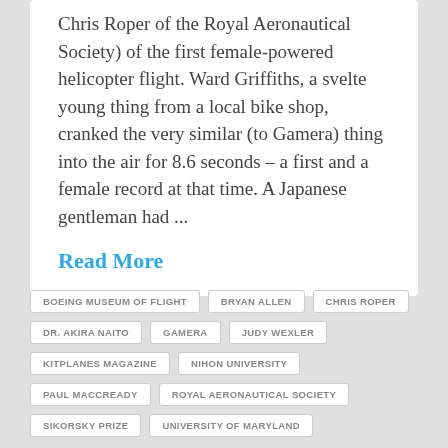Chris Roper of the Royal Aeronautical Society) of the first female-powered helicopter flight. Ward Griffiths, a svelte young thing from a local bike shop, cranked the very similar (to Gamera) thing into the air for 8.6 seconds – a first and a female record at that time. A Japanese gentleman had ...
Read More
BOEING MUSEUM OF FLIGHT
BRYAN ALLEN
CHRIS ROPER
DR. AKIRA NAITO
GAMERA
JUDY WEXLER
KITPLANES MAGAZINE
NIHON UNIVERSITY
PAUL MACCREADY
ROYAL AERONAUTICAL SOCIETY
SIKORSKY PRIZE
UNIVERSITY OF MARYLAND